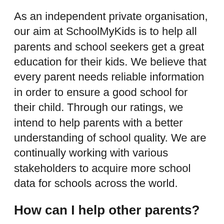As an independent private organisation, our aim at SchoolMyKids is to help all parents and school seekers get a great education for their kids. We believe that every parent needs reliable information in order to ensure a good school for their child. Through our ratings, we intend to help parents with a better understanding of school quality. We are continually working with various stakeholders to acquire more school data for schools across the world.
How can I help other parents?
Thank you for showing interest in helping out other parents. If your kids are studying or have studied in any of the schools listed, review/verification of